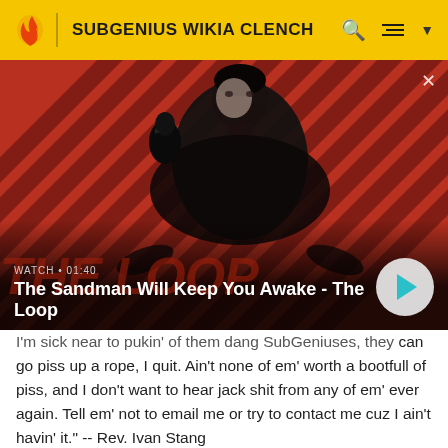SUBGENIUS WIKIA CLENCH
[Figure (screenshot): Video thumbnail showing a pale young man in black with a raven on his shoulder, against a red and dark diagonal striped background. Bottom overlay shows watch time 01:40 and title 'The Sandman Will Keep You Awake - The Loop' with a play button.]
I'm sick near to pukin' of them dang SubGeniuses, they can go piss up a rope, I quit. Ain't none of em' worth a bootfull of piss, and I don't want to hear jack shit from any of em' ever again. Tell em' not to email me or try to contact me cuz I ain't havin' it." -- Rev. Ivan Stang